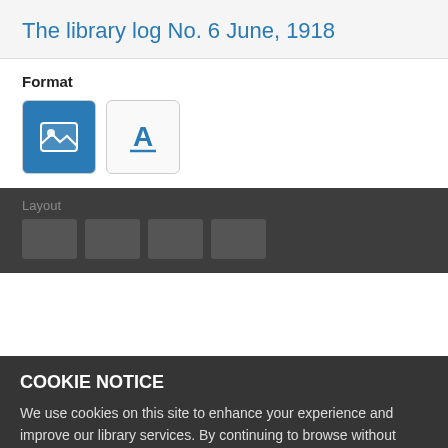The library log No. 6 June, 1918
Format
[Figure (screenshot): Two format selector buttons: an image/photo icon (active, blue background) and a text 'A' icon (inactive, white background)]
Layout
COOKIE NOTICE
We use cookies on this site to enhance your experience and improve our library services. By continuing to browse without changing your browser settings to block or delete cookies, you agree to the storing of cookies and related technologies on your device. UW–Madison Privacy Notice
GOT IT!